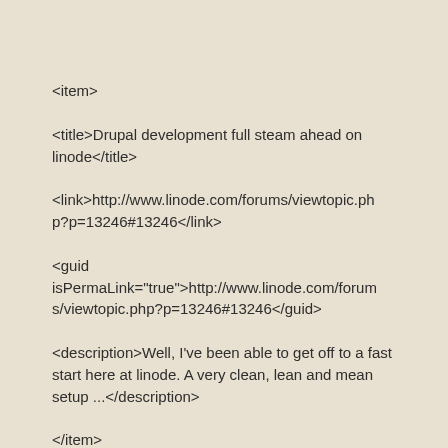<item>
<title>Drupal development full steam ahead on linode</title>
<link>http://www.linode.com/forums/viewtopic.php?p=13246#13246</link>
<guid isPermaLink="true">http://www.linode.com/forums/viewtopic.php?p=13246#13246</guid>
<description>Well, I've been able to get off to a fast start here at linode. A very clean, lean and mean setup ...</description>
</item>